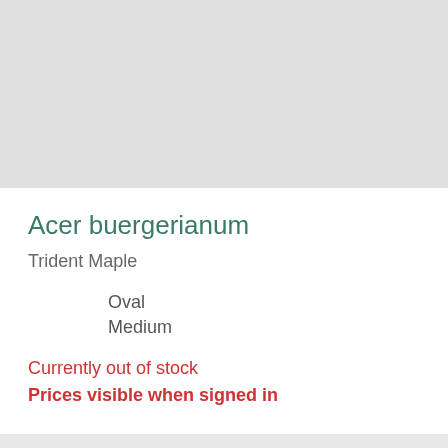Acer buergerianum
Trident Maple
Oval
Medium
Currently out of stock
Prices visible when signed in